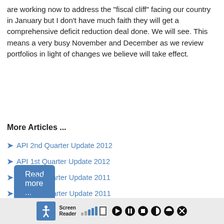are working now to address the "fiscal cliff" facing our country in January but I don't have much faith they will get a comprehensive deficit reduction deal done. We will see. This means a very busy November and December as we review portfolios in light of changes we believe will take effect.
Read more ...
More Articles ...
API 2nd Quarter Update 2012
API 1st Quarter Update 2012
API 4th Quarter Update 2011
API 3rd Quarter Update 2011
Screen Reader [accessibility toolbar]